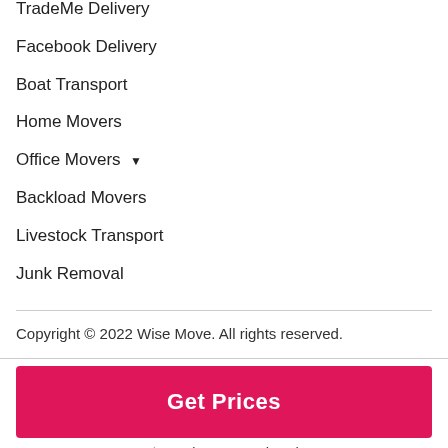TradeMe Delivery
Facebook Delivery
Boat Transport
Home Movers
Office Movers ▼
Backload Movers
Livestock Transport
Junk Removal
Copyright © 2022 Wise Move. All rights reserved.
Get Prices
9.6 (11,333 reviews)